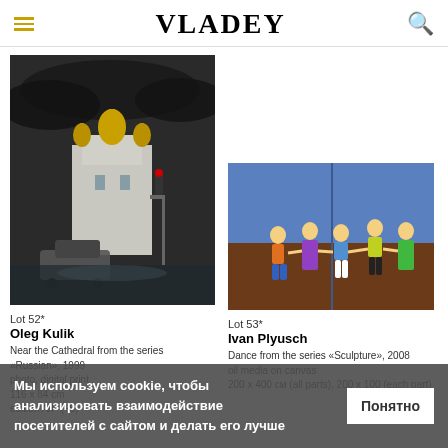VLADEY
[Figure (photo): Black and white photograph of Cathedral of Christ the Saviour in Moscow with cars in foreground, dramatic cloudy sky, golden domes visible]
[Figure (photo): Colorful painting of children dancing in a circle on brown ground against blue sky background]
Lot 52*
Oleg Kulik
Near the Cathedral from the series «Russian», 1999
photo, digital print
116 x 84 cm
edition A/P (+5)
Lot 53*
Ivan Plyusch
Dance from the series «Sculpture», 2008
oil media on canvas
200 x 400 см (all parts), 200 x 100 (each part)
Мы используем cookie, чтобы анализировать взаимодействие посетителей с сайтом и делать его лучше
Понятно